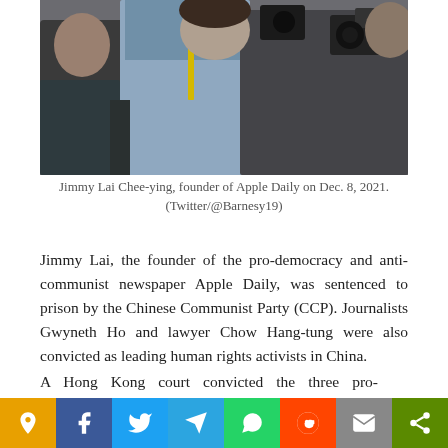[Figure (photo): Jimmy Lai Chee-ying surrounded by people including photographers with cameras, walking outdoors.]
Jimmy Lai Chee-ying, founder of Apple Daily on Dec. 8, 2021. (Twitter/@Barnesy19)
Jimmy Lai, the founder of the pro-democracy and anti-communist newspaper Apple Daily, was sentenced to prison by the Chinese Communist Party (CCP). Journalists Gwyneth Ho and lawyer Chow Hang-tung were also convicted as leading human rights activists in China.
A Hong Kong court convicted the three pro-democracy activists on Thursday, Dec. 9, on charges associated with their participation in a vigil commemorating the 2020 Tiananmen... the